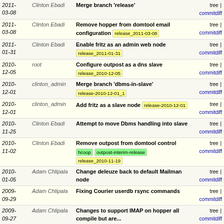| Date | Author | Message | Links |
| --- | --- | --- | --- |
| 2011-03-08 | Clinton Ebadi | Merge branch 'release' | tree | commitdiff |
| 2011-03-08 | Clinton Ebadi | Remove hopper from domtool email configuration [release_2011-03-08] | tree | commitdiff |
| 2011-01-31 | Clinton Ebadi | Enable fritz as an admin web node [release_2011-01-31] | tree | commitdiff |
| 2010-12-05 | root | Configure outpost as a dns slave [release_2010-12-05] | tree | commitdiff |
| 2010-12-01 | clinton_admin | Merge branch 'dbms-in-slave' [release-2010-12-01_1] | tree | commitdiff |
| 2010-12-01 | clinton_admin | Add fritz as a slave node [release-2010-12-01] | tree | commitdiff |
| 2010-11-25 | Clinton Ebadi | Attempt to move Dbms handling into slave | tree | commitdiff |
| 2010-11-02 | Clinton Ebadi | Remove outpost from domtool control [hcoop] [outpost-interim-release] [release_2010-11-19] | tree | commitdiff |
| 2010-01-05 | Adam Chlipala | Change deleuze back to default Mailman node | tree | commitdiff |
| 2009-09-29 | Adam Chlipala | Fixing Courier userdb rsync commands | tree | commitdiff |
| 2009-09-27 | Adam Chlipala | Changes to support IMAP on hopper all compile but are... | tree | commitdiff |
| 2009-02-17 | Adam Chlipala | Generation of slash-tilde waklog directives for each... | tree | commitdiff |
| 2008- | Adam | Add Apache icons to readable | tree | |